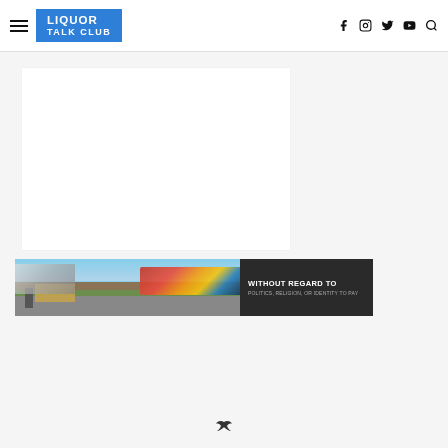[Figure (logo): Liquor Talk Club website header with hamburger menu, logo, and social media icons (Facebook, Instagram, Twitter, YouTube, Search)]
[Figure (photo): Large white blank article content area on light gray background]
[Figure (photo): Advertisement banner showing aircraft being loaded with cargo on tarmac, with dark overlay text box reading WITHOUT REGARD TO POLITICS, RELIGION, OR IDENTITY TO PAY]